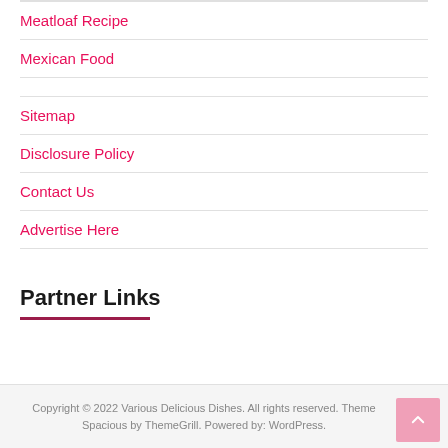Meatloaf Recipe
Mexican Food
Sitemap
Disclosure Policy
Contact Us
Advertise Here
Partner Links
Copyright © 2022 Various Delicious Dishes. All rights reserved. Theme Spacious by ThemeGrill. Powered by: WordPress.